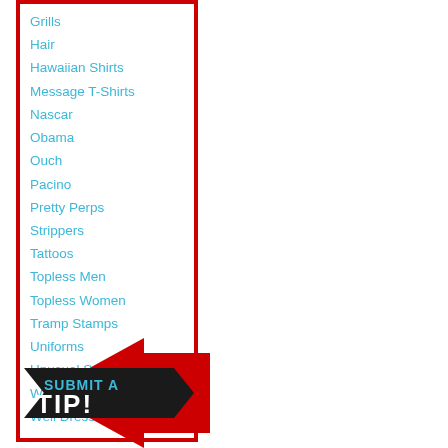Grills
Hair
Hawaiian Shirts
Message T-Shirts
Nascar
Obama
Ouch
Pacino
Pretty Perps
Strippers
Tattoos
Topless Men
Topless Women
Tramp Stamps
Uniforms
Unusual Suspects
Weepy
Well Dressed
[Figure (infographic): Red arrow/badge graphic with black banner reading SUBMIT A TIP! in bold white/cyan text]